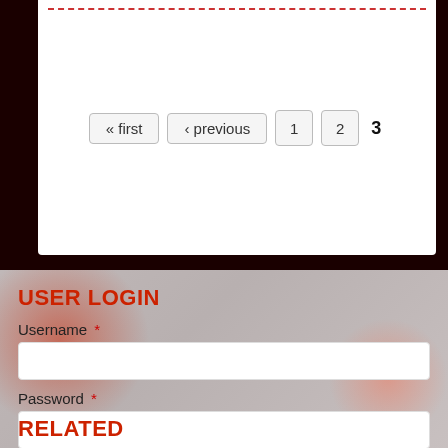[Figure (screenshot): Pagination control with buttons: « first, ‹ previous, 1, 2, and current page 3 (bold)]
USER LOGIN
Username *
Password *
Request new password
Log in
RELATED